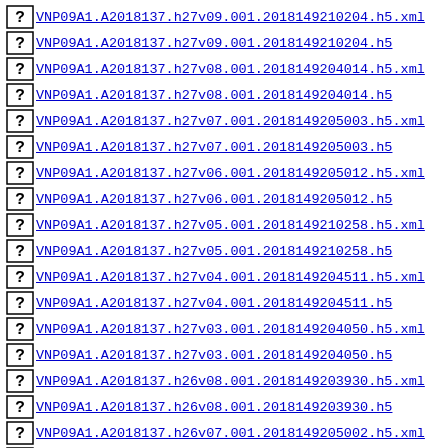VNP09A1.A2018137.h27v09.001.2018149210204.h5.xml
VNP09A1.A2018137.h27v09.001.2018149210204.h5
VNP09A1.A2018137.h27v08.001.2018149204014.h5.xml
VNP09A1.A2018137.h27v08.001.2018149204014.h5
VNP09A1.A2018137.h27v07.001.2018149205003.h5.xml
VNP09A1.A2018137.h27v07.001.2018149205003.h5
VNP09A1.A2018137.h27v06.001.2018149205012.h5.xml
VNP09A1.A2018137.h27v06.001.2018149205012.h5
VNP09A1.A2018137.h27v05.001.2018149210258.h5.xml
VNP09A1.A2018137.h27v05.001.2018149210258.h5
VNP09A1.A2018137.h27v04.001.2018149204511.h5.xml
VNP09A1.A2018137.h27v04.001.2018149204511.h5
VNP09A1.A2018137.h27v03.001.2018149204050.h5.xml
VNP09A1.A2018137.h27v03.001.2018149204050.h5
VNP09A1.A2018137.h26v08.001.2018149203930.h5.xml
VNP09A1.A2018137.h26v08.001.2018149203930.h5
VNP09A1.A2018137.h26v07.001.2018149205002.h5.xml
VNP09A1.A2018137.h26v07.001.2018149205002.h5